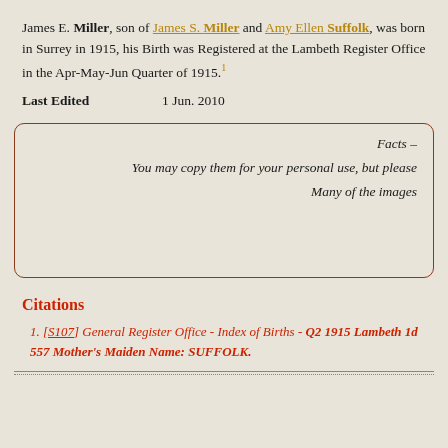James E. Miller, son of James S. Miller and Amy Ellen Suffolk, was born in Surrey in 1915, his Birth was Registered at the Lambeth Register Office in the Apr-May-Jun Quarter of 1915.¹
| Last Edited | Date |
| --- | --- |
| Last Edited | 1 Jun. 2010 |
Facts – You may copy them for your personal use, but please Many of the images
Citations
1. [S107] General Register Office - Index of Births - Q2 1915 Lambeth 1d 557 Mother's Maiden Name: SUFFOLK.